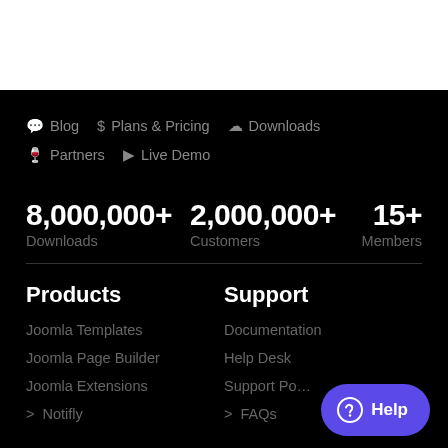💬 Blog  $ Plans & Pricing  ☁ Downloads  🍷 Partners  ▶ Live Demo
8,000,000+ Downloads   2,000,000+ Customers   15+ Members
Products
Joomla Templates
Joomla Page Builder
Joomla Extensions
> Notifly
Support
Documentation
Help Desk
Support Po…
> FAQs